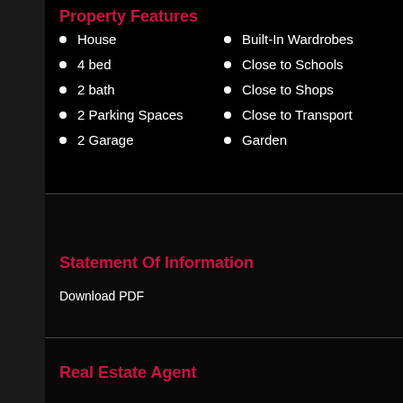Property Features
House
4 bed
2 bath
2 Parking Spaces
2 Garage
Built-In Wardrobes
Close to Schools
Close to Shops
Close to Transport
Garden
Statement Of Information
Download PDF
Real Estate Agent